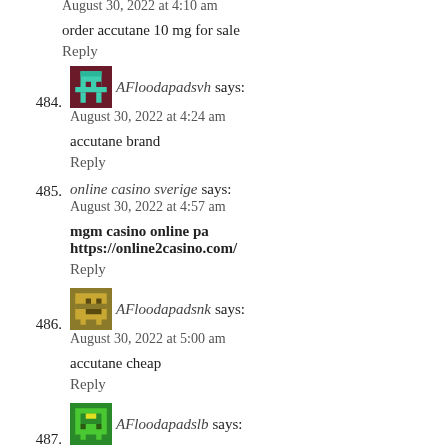483. AFloodapadsun says: August 30, 2022 at 4:10 am
order accutane 10 mg for sale
Reply
484. AFloodapadsvh says: August 30, 2022 at 4:24 am
accutane brand
Reply
485. online casino sverige says: August 30, 2022 at 4:57 am
mgm casino online pa https://online2casino.com/
Reply
486. AFloodapadsnk says: August 30, 2022 at 5:00 am
accutane cheap
Reply
487. AFloodapadslb says: